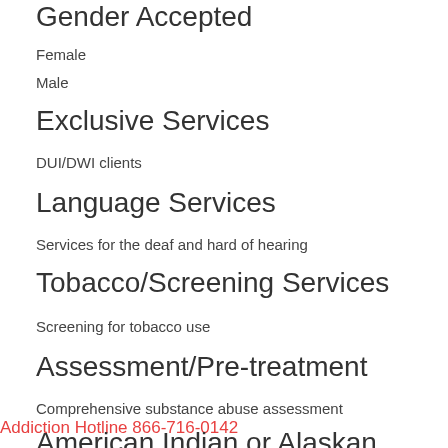Gender Accepted
Female
Male
Exclusive Services
DUI/DWI clients
Language Services
Services for the deaf and hard of hearing
Tobacco/Screening Services
Screening for tobacco use
Assessment/Pre-treatment
Comprehensive substance abuse assessment
Addiction Hotline 866-716-0142
American Indian or Alaskan Native